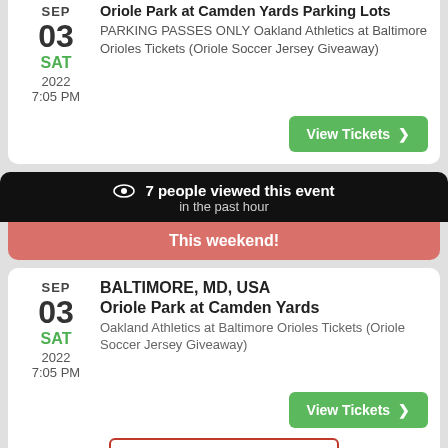SEP 03 SAT 2022 7:05 PM | Oriole Park at Camden Yards Parking Lots | PARKING PASSES ONLY Oakland Athletics at Baltimore Orioles Tickets (Oriole Soccer Jersey Giveaway) | View Tickets
7 people viewed this event in the past hour
This weekend!
BALTIMORE, MD, USA | Oriole Park at Camden Yards | Oakland Athletics at Baltimore Orioles Tickets (Oriole Soccer Jersey Giveaway) | SEP 03 SAT 2022 7:05 PM | View Tickets | This event is selling fast for Baltimore Orioles on our site
20 people viewed this event